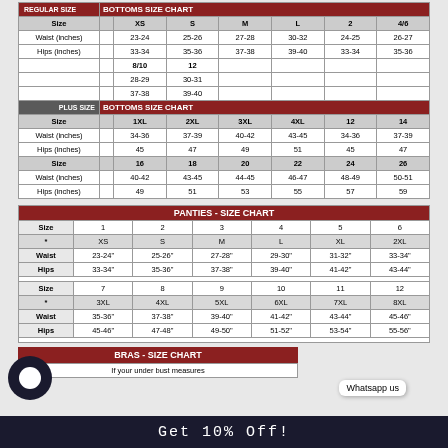| REGULAR SIZE | BOTTOMS SIZE CHART | XS | S | M | L | 2 | 4/6 |
| --- | --- | --- | --- | --- | --- | --- | --- |
| Size |  | XS | S | M | L | 2 | 4/6 |
| Waist (inches) |  | 23-24 | 25-26 | 27-28 | 30-32 | 24-25 | 26-27 |
| Hips (inches) |  | 33-34 | 35-36 | 37-38 | 39-40 | 33-34 | 35-36 |
|  |  | 8/10 | 12 |  |  |  |  |
|  |  | 28-29 | 30-31 |  |  |  |  |
|  |  | 37-38 | 39-40 |  |  |  |  |
| PLUS SIZE | BOTTOMS SIZE CHART |  |  |  |  |  |  |
| Size |  | 1XL | 2XL | 3XL | 4XL | 12 | 14 |
| Waist (inches) |  | 34-36 | 37-39 | 40-42 | 43-45 | 34-36 | 37-39 |
| Hips (inches) |  | 45 | 47 | 49 | 51 | 45 | 47 |
| Size |  | 16 | 18 | 20 | 22 | 24 | 26 |
| Waist (inches) |  | 40-42 | 43-45 | 44-45 | 46-47 | 48-49 | 50-51 |
| Hips (inches) |  | 49 | 51 | 53 | 55 | 57 | 59 |
| PANTIES - SIZE CHART |
| --- |
| Size | 1 | 2 | 3 | 4 | 5 | 6 |
| * | XS | S | M | L | XL | 2XL |
| Waist | 23-24" | 25-26" | 27-28" | 29-30" | 31-32" | 33-34" |
| Hips | 33-34" | 35-36" | 37-38" | 39-40" | 41-42" | 43-44" |
| Size | 7 | 8 | 9 | 10 | 11 | 12 |
| * | 3XL | 4XL | 5XL | 6XL | 7XL | 8XL |
| Waist | 35-36" | 37-38" | 39-40" | 41-42" | 43-44" | 45-46" |
| Hips | 45-46" | 47-48" | 49-50" | 51-52" | 53-54" | 55-56" |
| BRAS - SIZE CHART |
| --- |
| If your under bust measures |
Get 10% Off!